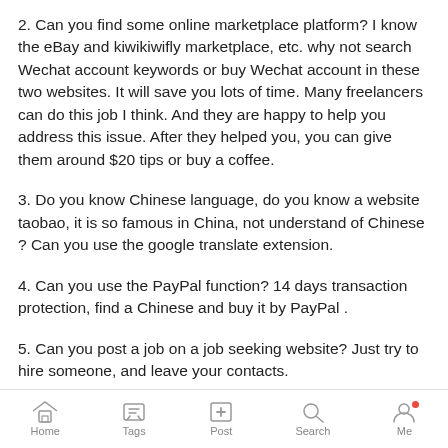2. Can you find some online marketplace platform? I know the eBay and kiwikiwifly marketplace, etc. why not search Wechat account keywords or buy Wechat account in these two websites. It will save you lots of time. Many freelancers can do this job I think. And they are happy to help you address this issue. After they helped you, you can give them around $20 tips or buy a coffee.
3. Do you know Chinese language, do you know a website taobao, it is so famous in China, not understand of Chinese ? Can you use the google translate extension.
4. Can you use the PayPal function? 14 days transaction protection, find a Chinese and buy it by PayPal .
5. Can you post a job on a job seeking website? Just try to hire someone, and leave your contacts.
6. Can you see some YouTube video tutorials. But only a few tutorials works, most of them waste time.
Home  Tags  Post  Search  Me